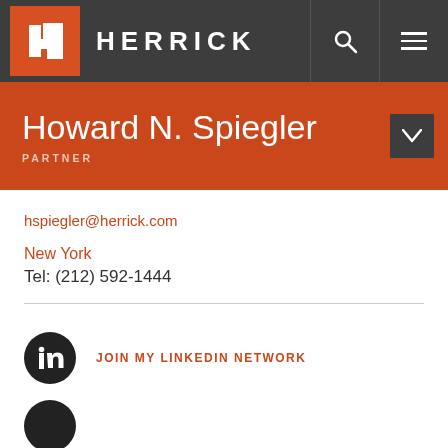HERRICK
Howard N. Spiegler
PARTNER
hspiegler@herrick.com
New York
Tel: (212) 592-1444
JOIN MY LINKEDIN NETWORK